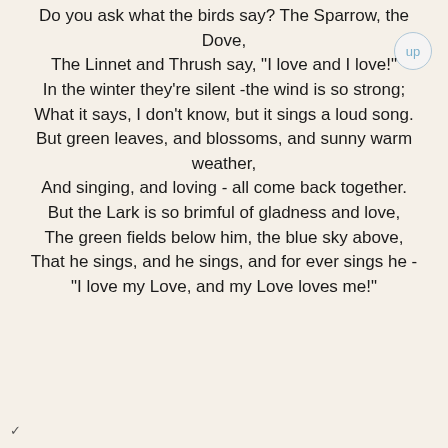Do you ask what the birds say? The Sparrow, the Dove,
The Linnet and Thrush say, "I love and I love!"
In the winter they're silent -the wind is so strong;
What it says, I don't know, but it sings a loud song.
But green leaves, and blossoms, and sunny warm weather,
And singing, and loving - all come back together.
But the Lark is so brimful of gladness and love,
The green fields below him, the blue sky above,
That he sings, and he sings, and for ever sings he -
"I love my Love, and my Love loves me!"